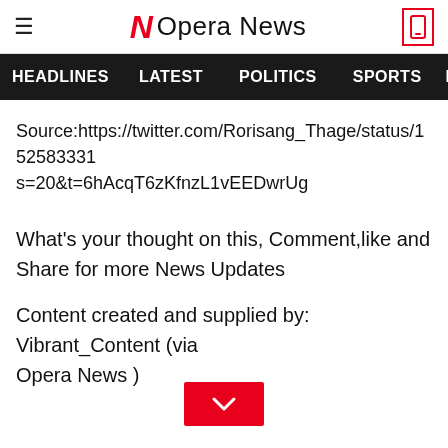Opera News
HEADLINES   LATEST   POLITICS   SPORTS   B
Source:https://twitter.com/Rorisang_Thage/status/1525833312...s=20&t=6hAcqT6zKfnzL1vEEDwrUg
What's your thought on this, Comment,like and Share for more News Updates
Content created and supplied by: Vibrant_Content (via Opera News )